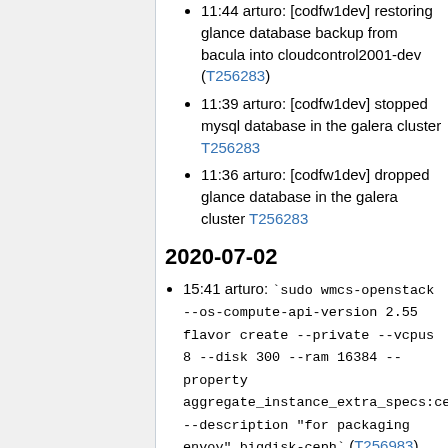11:44 arturo: [codfw1dev] restoring glance database backup from bacula into cloudcontrol2001-dev (T256283)
11:39 arturo: [codfw1dev] stopped mysql database in the galera cluster T256283
11:36 arturo: [codfw1dev] dropped glance database in the galera cluster T256283
2020-07-02
15:41 arturo: `sudo wmcs-openstack --os-compute-api-version 2.55 flavor create --private --vcpus 8 --disk 300 --ram 16384 --property aggregate_instance_extra_specs:ceph= --description "for packaging envoy" bigdisk-ceph` (T256983)
2020-06-29
14:34 arturo: starting rabbitmg server...